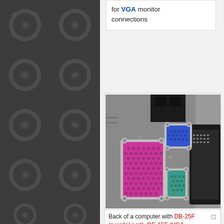for VGA monitor connections
[Figure (photo): Back of a computer showing DB-25F parallel port (pink), DE-15F VGA connector (blue), DE-9M serial port (teal/green), and a DA-15M MIDI-on-a-gameport cable connector held next to it.]
Back of a computer with DB-25F (parallel port), DE-15F (VGA connector), DE-9M (serial port). The DA-15M held next to it is a MIDI-on-a-gameport cable